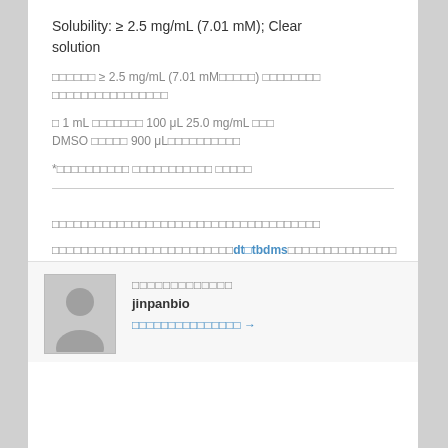Solubility: ≥ 2.5 mg/mL (7.01 mM); Clear solution
□□□□□□ ≥ 2.5 mg/mL (7.01 mM□□□□□) □□□□□□□□ □□□□□□□□□□□□□□□□
□ 1 mL □□□□□□□ 100 μL 25.0 mg/mL □□□ DMSO □□□□□ 900 μL□□□□□□□□□□
*□□□□□□□□□□ □□□□□□□□□□□ □□□□□
□□□□□□□□□□□□□□□□□□□□□□□□□□□□□□□□□□□
□□□□□□□□□□□□□□□□□□□□□□□□□□□dt□tbdms□□□□□□□□□□□□□□□□□□
□□□□□□□□□□□□□
jinpanbio
□□□□□□□□□□□□□□□ →